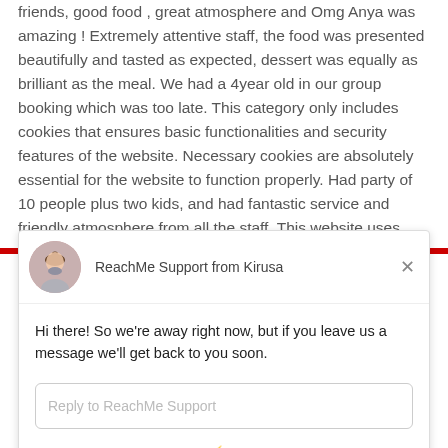friends, good food , great atmosphere and Omg Anya was amazing ! Extremely attentive staff, the food was presented beautifully and tasted as expected, dessert was equally as brilliant as the meal. We had a 4year old in our group booking which was too late. This category only includes cookies that ensures basic functionalities and security features of the website. Necessary cookies are absolutely essential for the website to function properly. Had party of 10 people plus two kids, and had fantastic service and friendly atmosphere from all the staff. This website uses cookies to improve your
[Figure (screenshot): Chat widget from ReachMe Support by Kirusa showing a woman avatar, header text 'ReachMe Support from Kirusa', close button, message 'Hi there! So we're away right now, but if you leave us a message we'll get back to you soon.', reply input box 'Reply to ReachMe Support', and footer 'Chat ⚡ by Drift']